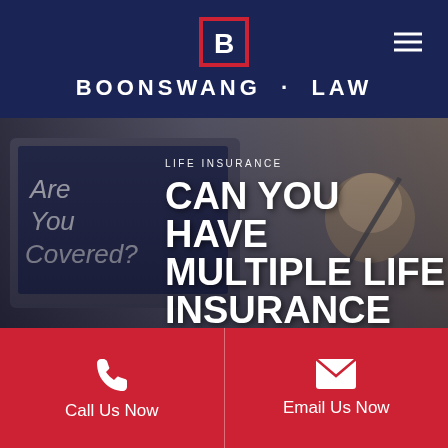BOONSWANG · LAW
[Figure (photo): Background photo of a laptop showing 'Are You Covered?' on screen, with a hand holding a pen near a coffee cup, overlaid with hero text about life insurance]
LIFE INSURANCE
CAN YOU HAVE MULTIPLE LIFE INSURANCE POLICIES
Call Us Now
Email Us Now